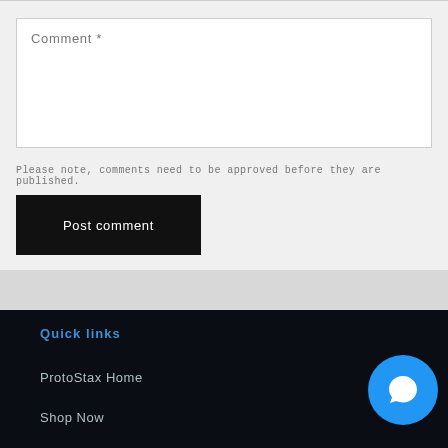Comment *
Please note, comments need to be approved before they are published.
Post comment
Quick links
ProtoStax Home
Shop Now